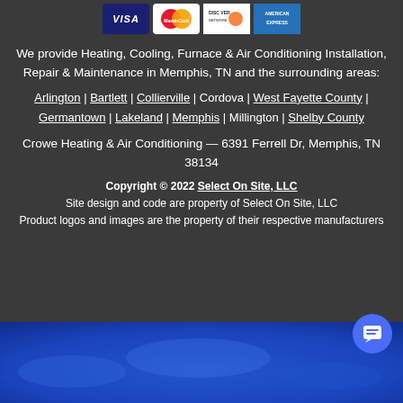[Figure (logo): Row of payment card logos: Visa, MasterCard, Discover, American Express]
We provide Heating, Cooling, Furnace & Air Conditioning Installation, Repair & Maintenance in Memphis, TN and the surrounding areas:
Arlington | Bartlett | Collierville | Cordova | West Fayette County | Germantown | Lakeland | Memphis | Millington | Shelby County
Crowe Heating & Air Conditioning — 6391 Ferrell Dr, Memphis, TN 38134
Copyright © 2022 Select On Site, LLC
Site design and code are property of Select On Site, LLC
Product logos and images are the property of their respective manufacturers
[Figure (photo): Blue sky/clouds background image at bottom of page]
[Figure (other): Chat button icon (circular blue button with chat/message icon)]